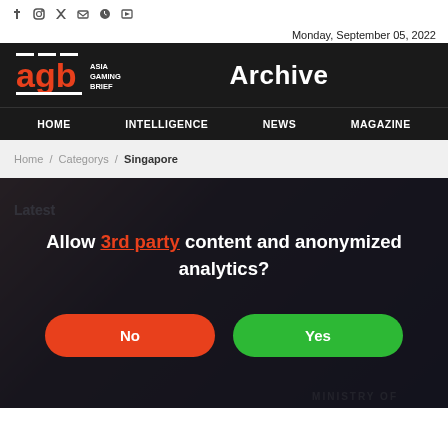Social media icons bar
Monday, September 05, 2022
[Figure (logo): AGB Asia Gaming Brief logo in red and white on dark background with Archive title]
HOME   INTELLIGENCE   NEWS   MAGAZINE
Home / Categorys / Singapore
Latest
Allow 3rd party content and anonymized analytics?
No
Yes
MINISTRY OF